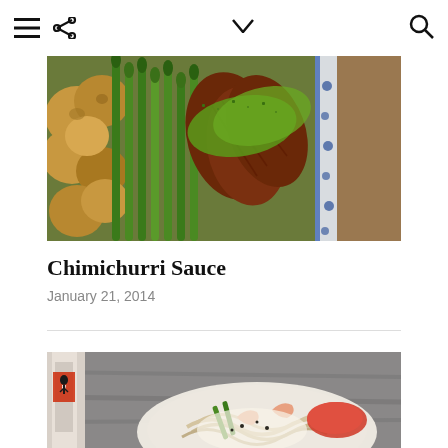≡ ⬡ ∨ Q
[Figure (photo): Food photo of a decorative serving platter with roasted baby potatoes, grilled asparagus, sliced grilled steak topped with chimichurri sauce (green herb sauce), on a blue and white decorative plate]
Chimichurri Sauce
January 21, 2014
[Figure (photo): Food photo of a pasta dish with shrimp, colorful vegetables including red and green peppers, and a cream sauce, with what appears to be a wine bottle visible on the left side, on a gray background]